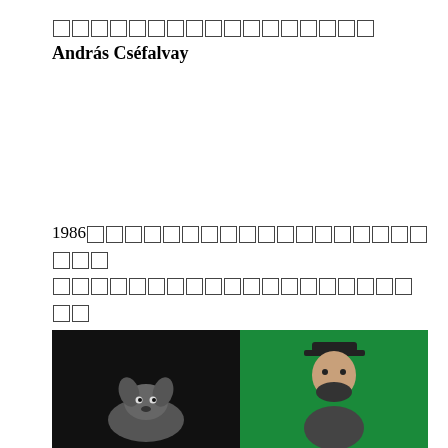□□□□□□□□□□□□□□□□□András Cséfalvay
1986□□□□□□□□□□□□□□□□□□□□□□□□□□□□□□□□□□□□□□□□□□□□□□□□□□□□□□□□□□□□□□□□□□□□□□□□□□□□□□□□□□□□□□□□□□□□□□□□□□□□□□□□□□□□□□□□□□□□□□□□□□2009□Oskár Čepan□□□□□□□□□□□□□□□□□□□□□□□□
[Figure (photo): Two side-by-side photos: left shows a dog (likely a cat or small dog) against a dark/black background; right shows a person against a bright green background.]